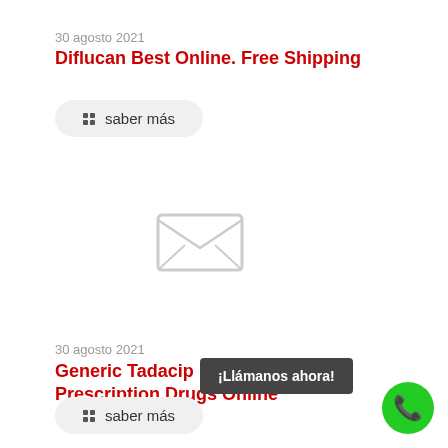30 agosto 2021
Diflucan Best Online. Free Shipping
saber más
[Figure (illustration): Broken/placeholder image icon in light gray]
30 agosto 2021
Generic Tadacip no prescription | Prescription Drugs Online
saber más
¡Llámanos ahora!
[Figure (illustration): Green circle with white phone icon]